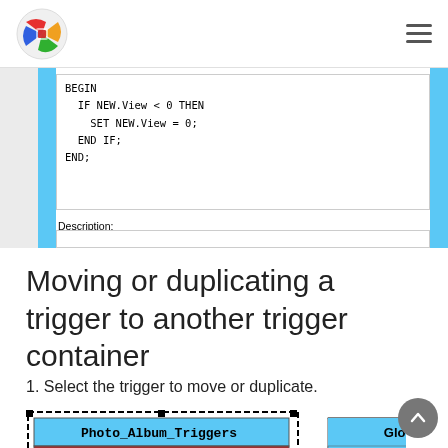[Figure (screenshot): Code editor screenshot showing SQL trigger code: BEGIN / IF NEW.View < 0 THEN / SET NEW.View = 0; / END IF; / END; with a Description field below]
Moving or duplicating a trigger to another trigger container
1. Select the trigger to move or duplicate.
[Figure (screenshot): Diagram showing two trigger containers: 'Photo_Album_Triggers' with items upd_check_album, upd_check_photo, upd_check_member (selected/highlighted in dark red), and a 'Global' container on the right (empty, in light blue)]